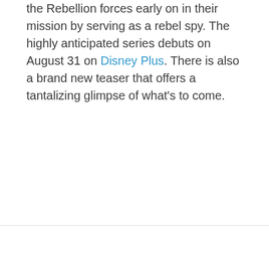the Rebellion forces early on in their mission by serving as a rebel spy. The highly anticipated series debuts on August 31 on Disney Plus. There is also a brand new teaser that offers a tantalizing glimpse of what's to come.